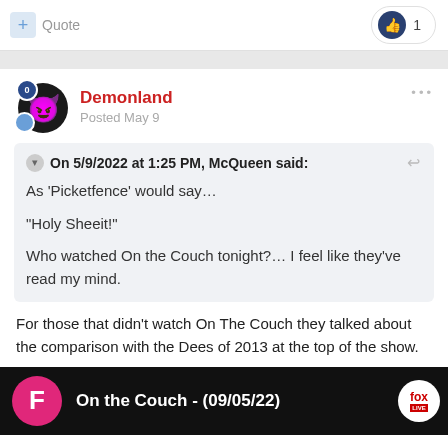+ Quote | 1
Demonland
Posted May 9
On 5/9/2022 at 1:25 PM, McQueen said:
As 'Picketfence' would say...
"Holy Sheeit!"
Who watched On the Couch tonight?... I feel like they've read my mind.
For those that didn't watch On The Couch they talked about the comparison with the Dees of 2013 at the top of the show.
[Figure (screenshot): Video thumbnail: On the Couch - (09/05/22) with Fox Sports logo]